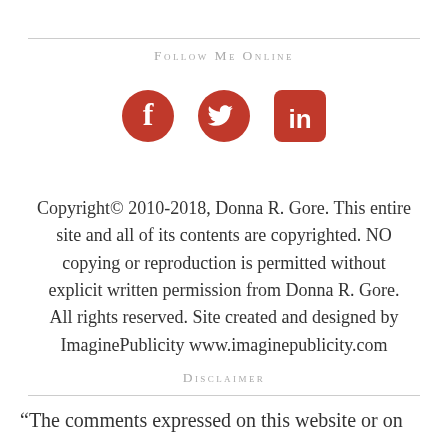Follow Me Online
[Figure (illustration): Three social media icons in red: Facebook, Twitter, LinkedIn]
Copyright© 2010-2018, Donna R. Gore. This entire site and all of its contents are copyrighted. NO copying or reproduction is permitted without explicit written permission from Donna R. Gore. All rights reserved. Site created and designed by ImaginePublicity www.imaginepublicity.com
Disclaimer
“The comments expressed on this website or on